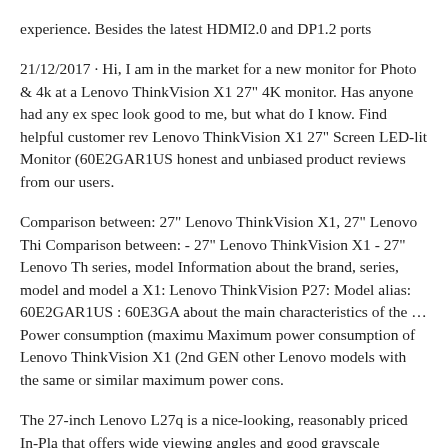experience. Besides the latest HDMI2.0 and DP1.2 ports
21/12/2017 · Hi, I am in the market for a new monitor for Photo & 4k at a Lenovo ThinkVision X1 27" 4K monitor. Has anyone had any ex spec look good to me, but what do I know. Find helpful customer rev Lenovo ThinkVision X1 27" Screen LED-lit Monitor (60E2GAR1US honest and unbiased product reviews from our users.
Comparison between: 27" Lenovo ThinkVision X1, 27" Lenovo Thi Comparison between: - 27" Lenovo ThinkVision X1 - 27" Lenovo Th series, model Information about the brand, series, model and model a X1: Lenovo ThinkVision P27: Model alias: 60E2GAR1US : 60E3GA about the main characteristics of the … Power consumption (maximu Maximum power consumption of Lenovo ThinkVision X1 (2nd GEN other Lenovo models with the same or similar maximum power cons.
The 27-inch Lenovo L27q is a nice-looking, reasonably priced In-Pla that offers wide viewing angles and good grayscale performance. 21/ market for a new monitor for Photo & 4k Video editing. I am looking